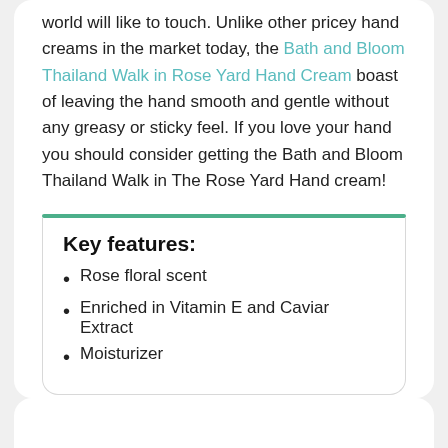world will like to touch. Unlike other pricey hand creams in the market today, the Bath and Bloom Thailand Walk in Rose Yard Hand Cream boast of leaving the hand smooth and gentle without any greasy or sticky feel. If you love your hand you should consider getting the Bath and Bloom Thailand Walk in The Rose Yard Hand cream!
Key features:
Rose floral scent
Enriched in Vitamin E and Caviar Extract
Moisturizer